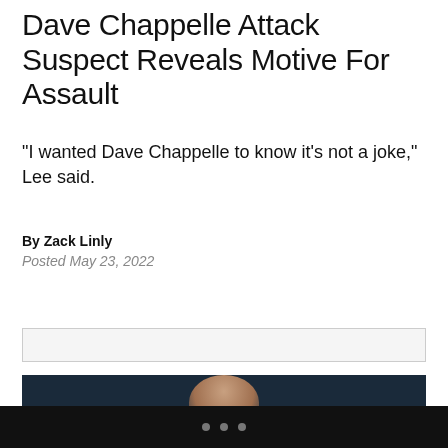Dave Chappelle Attack Suspect Reveals Motive For Assault
"I wanted Dave Chappelle to know it's not a joke," Lee said.
By Zack Linly
Posted May 23, 2022
[Figure (other): Advertisement placeholder box]
[Figure (photo): Partial photo of a bald person's head against a dark background]